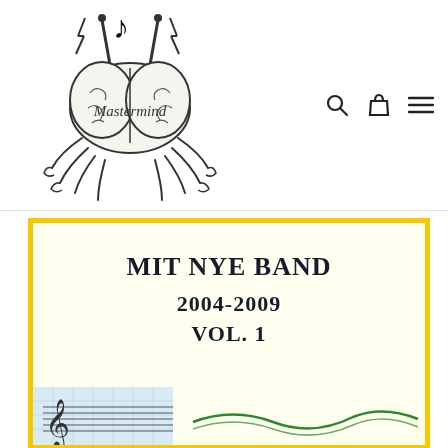[Figure (logo): Mastermind Music logo — illustrated brain with drumsticks and a musical note, with the word 'Mastermind' written in script across the brain]
[Figure (other): Navigation icons: search magnifier, shopping bag, and hamburger menu]
MIT NYE BAND
2004-2009
VOL. 1
[Figure (other): Bottom portion of album/product cover art showing graph paper and musical notation lines, partially visible]